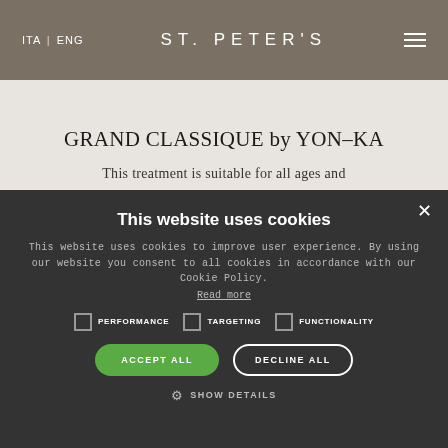ITA | ENG   ST. PETER'S
GRAND CLASSIQUE by YON-KA
This treatment is suitable for all ages and
This website uses cookies
This website uses cookies to improve user experience. By using our website you consent to all cookies in accordance with our Cookie Policy. Read more
PERFORMANCE
TARGETING
FUNCTIONALITY
ACCEPT ALL
DECLINE ALL
SHOW DETAILS